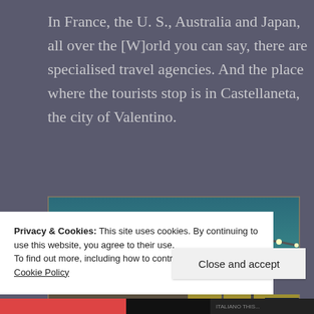In France, the U. S., Australia and Japan, all over the [W]orld you can say, there are specialised travel agencies. And the place where the tourists stop is in Castellaneta, the city of Valentino.
[Figure (photo): Twilight/dusk urban scene showing a large modernist concrete structure on the left, street lamps illuminated, buildings and a road in the background under a teal and orange sky.]
Privacy & Cookies: This site uses cookies. By continuing to use this website, you agree to their use.
To find out more, including how to control cookies, see here: Cookie Policy
Close and accept